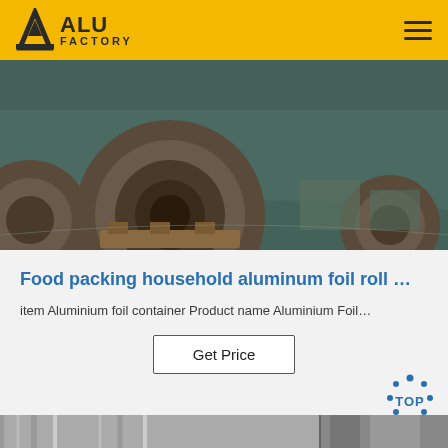ALU FACTORY
[Figure (photo): Large aluminum coil rolls on wooden pallets inside an industrial warehouse with dark green floor]
Food packing household aluminum foil roll …
item Aluminium foil container Product name Aluminium Foil…
Get Price
[Figure (photo): Close-up of aluminum foil rolls, silver/grey metallic material, partially visible]
[Figure (other): TOP scroll-to-top button icon in blue]